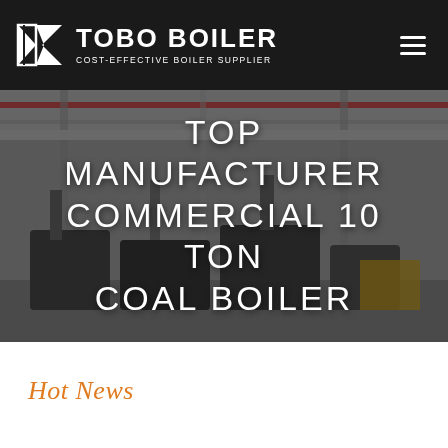TOBO BOILER — COST-EFFECTIVE BOILER SUPPLIER
[Figure (photo): Industrial boiler manufacturing facility interior with overhead cranes, large cylindrical boilers on the floor, steel structure, red crane beam visible overhead. Dark overlay applied.]
TOP MANUFACTURER COMMERCIAL 10 TON COAL BOILER
Hot News